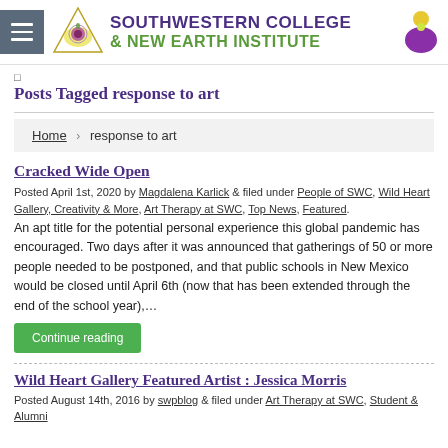[Figure (logo): Southwestern College & New Earth Institute logo with triangle/flower icon, menu hamburger icon, and purple bag icon]
Posts Tagged response to art
Home › response to art
Cracked Wide Open
Posted April 1st, 2020 by Magdalena Karlick & filed under People of SWC, Wild Heart Gallery, Creativity & More, Art Therapy at SWC, Top News, Featured.
An apt title for the potential personal experience this global pandemic has encouraged. Two days after it was announced that gatherings of 50 or more people needed to be postponed, and that public schools in New Mexico would be closed until April 6th (now that has been extended through the end of the school year),...
Continue reading
Wild Heart Gallery Featured Artist : Jessica Morris
Posted August 14th, 2016 by swpblog & filed under Art Therapy at SWC, Student & Alumni